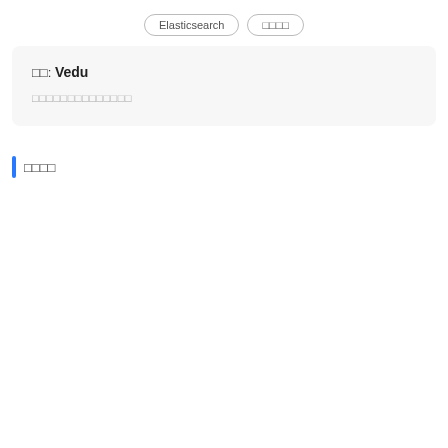Elasticsearch　□□□□
□□: Vedu
□□□□□□□□□□□□□□
□□□□